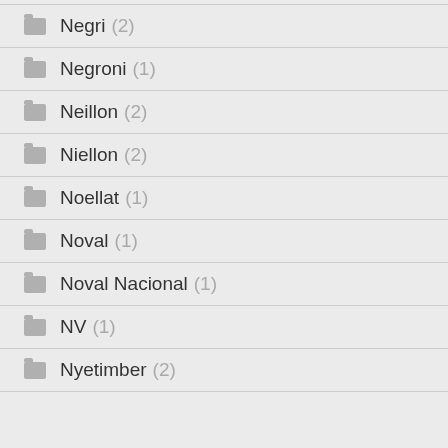Negri (2)
Negroni (1)
Neillon (2)
Niellon (2)
Noellat (1)
Noval (1)
Noval Nacional (1)
NV (1)
Nyetimber (2)